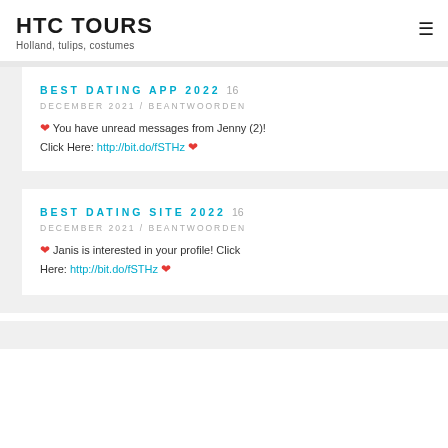HTC TOURS
Holland, tulips, costumes
BEST DATING APP 2022
16 DECEMBER 2021 / BEANTWOORDEN
❤ You have unread messages from Jenny (2)! Click Here: http://bit.do/fSTHz ❤
BEST DATING SITE 2022
16 DECEMBER 2021 / BEANTWOORDEN
❤ Janis is interested in your profile! Click Here: http://bit.do/fSTHz ❤